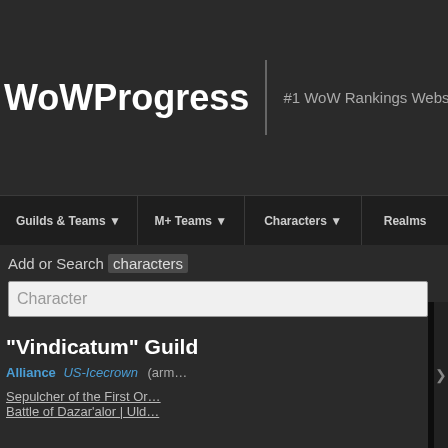WoWProgress
#1 WoW Rankings Website
Guilds & Teams ▼ | M+ Teams ▼ | Characters ▼ | Realms
Add or Search characters
Character
"Vindicatum" Guild
Alliance US-Icecrown (arm…
Sepulcher of the First Or…
Battle of Dazar'alor | Uld…
[Figure (screenshot): Video player overlay showing 'THIS DAY IN HISTORY' with blue triangular play icon logo and 'AUGUST' label, with mute icon]